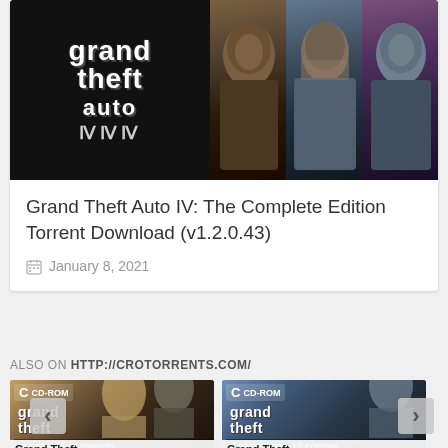[Figure (screenshot): Grand Theft Auto IV game art banner showing GTA logo on black background and three character portraits]
Grand Theft Auto IV: The Complete Edition Torrent Download (v1.2.0.43)
January 8, 2021
ALSO ON HTTP://CROTORRENTS.COM/
[Figure (screenshot): Thumbnail of Grand Theft Auto game with CD-ROM label, characters, and text: rs ago • 45 comments / Grand Theft]
[Figure (screenshot): Thumbnail of Grand Theft Auto game with CD-ROM label, characters, and text: 2 years ago • 19 comme / Grand Theft]